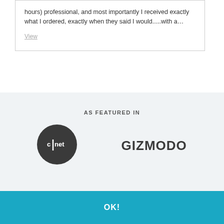hours) professional, and most importantly I received exactly what I ordered, exactly when they said I would.....with a…
View
AS FEATURED IN
[Figure (logo): CNET logo — dark circle with c|net text in white]
[Figure (logo): GIZMODO wordmark in dark bold capital letters]
This website uses cookies to personalize content and to improve your browsing experience. Learn more
OK!